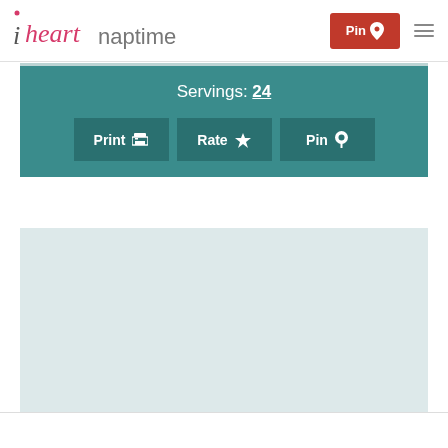i heart naptime | Pin | [menu]
Servings: 24
Print  Rate  Pin
[Figure (screenshot): Light blue/teal empty content area below the recipe buttons]